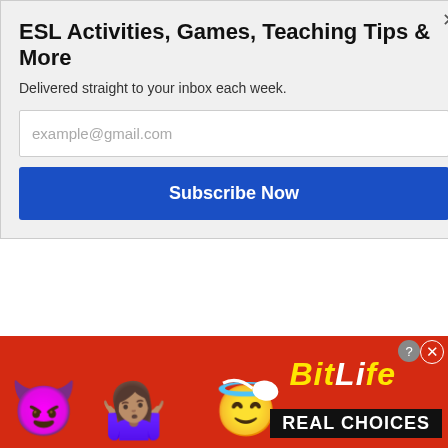ESL Activities, Games, Teaching Tips & More
Delivered straight to your inbox each week.
example@gmail.com
Subscribe Now
world.
SUMO
You can find her on social media at:
YouTube
Facebook
TikTok
[Figure (other): BitLife REAL CHOICES advertisement banner with emoji characters (devil, person, angel) on red background]